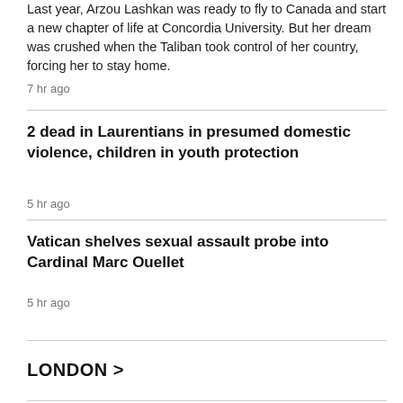Last year, Arzou Lashkan was ready to fly to Canada and start a new chapter of life at Concordia University. But her dream was crushed when the Taliban took control of her country, forcing her to stay home.
7 hr ago
2 dead in Laurentians in presumed domestic violence, children in youth protection
5 hr ago
Vatican shelves sexual assault probe into Cardinal Marc Ouellet
5 hr ago
LONDON >